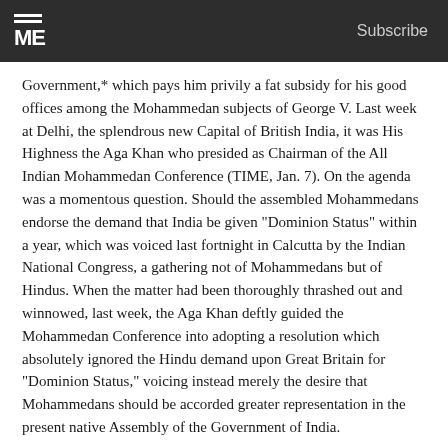ME  Subscribe
Government,* which pays him privily a fat subsidy for his good offices among the Mohammedan subjects of George V. Last week at Delhi, the splendrous new Capital of British India, it was His Highness the Aga Khan who presided as Chairman of the All Indian Mohammedan Conference (TIME, Jan. 7). On the agenda was a momentous question. Should the assembled Mohammedans endorse the demand that India be given "Dominion Status" within a year, which was voiced last fortnight in Calcutta by the Indian National Congress, a gathering not of Mohammedans but of Hindus. When the matter had been thoroughly thrashed out and winnowed, last week, the Aga Khan deftly guided the Mohammedan Conference into adopting a resolution which absolutely ignored the Hindu demand upon Great Britain for "Dominion Status," voicing instead merely the desire that Mohammedans should be accorded greater representation in the present native Assembly of the Government of India.
Since it is the virile Mohammedans and not the lackadaisical, jabbering Hindus who might be expected to strike a blow for "Dominion Status," the service of His Highness the Aga Khan to Britain, last week, was worth incalculably more than any other fat Khan last—at night is old by